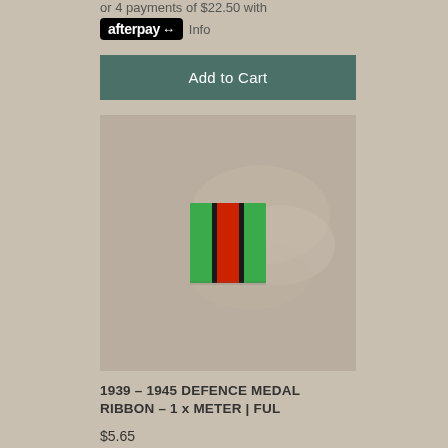or 4 payments of $22.50 with
afterpay Info
Add to Cart
[Figure (photo): A medal ribbon showing green, black, red, black, green vertical stripes, held between fingers against a light background.]
1939 – 1945 DEFENCE MEDAL RIBBON – 1 x METER | FUL
$5.65